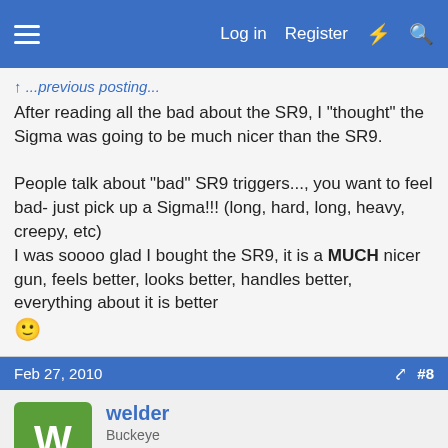Log in  Register  #8
After reading all the bad about the SR9, I "thought" the Sigma was going to be much nicer than the SR9.

People talk about "bad" SR9 triggers..., you want to feel bad- just pick up a Sigma!!! (long, hard, long, heavy, creepy, etc) I was soooo glad I bought the SR9, it is a MUCH nicer gun, feels better, looks better, handles better, everything about it is better 🙂
Feb 27, 2010  #8
welder
Buckeye
rds801":361v1xsb said:
Yup, my Ruger shoots nice, when it shoots. Having "the slide staying open with ammo in the mag" problem. Had to do a little bit of filing,